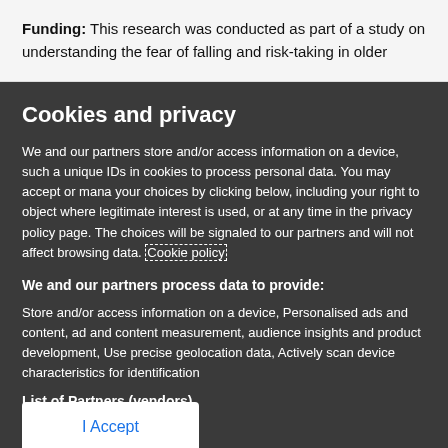Funding: This research was conducted as part of a study on understanding the fear of falling and risk-taking in older
Cookies and privacy
We and our partners store and/or access information on a device, such as unique IDs in cookies to process personal data. You may accept or manage your choices by clicking below, including your right to object where legitimate interest is used, or at any time in the privacy policy page. These choices will be signaled to our partners and will not affect browsing data. Cookie policy
We and our partners process data to provide:
Store and/or access information on a device, Personalised ads and content, ad and content measurement, audience insights and product development, Use precise geolocation data, Actively scan device characteristics for identification
List of Partners (vendors)